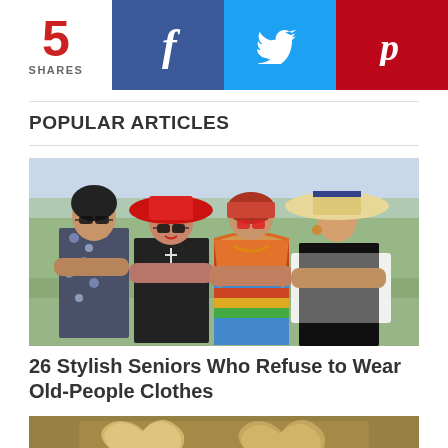5 SHARES
[Figure (other): Facebook share button (blue background with 'f' icon)]
[Figure (other): Twitter share button (light blue background with bird icon)]
[Figure (other): Pinterest share button (red background with 'P' icon)]
POPULAR ARTICLES
[Figure (photo): Four stylish elderly women posed together outdoors wearing colorful, eclectic fashion outfits including floral prints, a large red hat, colorful shawl, and a wide-brim straw hat]
26 Stylish Seniors Who Refuse to Wear Old-People Clothes
[Figure (photo): Two golden/metallic heart shapes on a textured golden-brown sandy background]